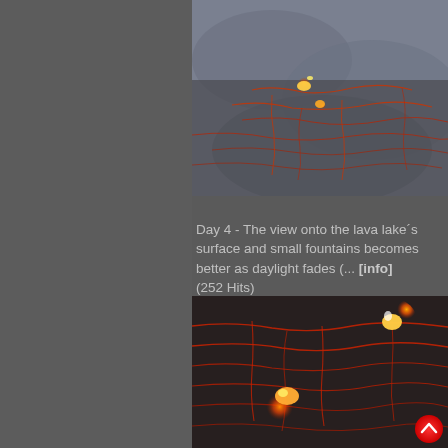[Figure (photo): Aerial view of a lava lake surface showing glowing orange lava cracks and small fountains against a grey/blue hazy sky background, taken during daylight fading.]
Day 4 - The view onto the lava lake´s surface and small fountains becomes better as daylight fades (... [info] (252 Hits)
[Figure (photo): Nighttime aerial view of a lava lake surface showing bright orange glowing lava fountains and red glowing cracks against a dark background, with a red circular scroll-to-top button in the lower right corner.]